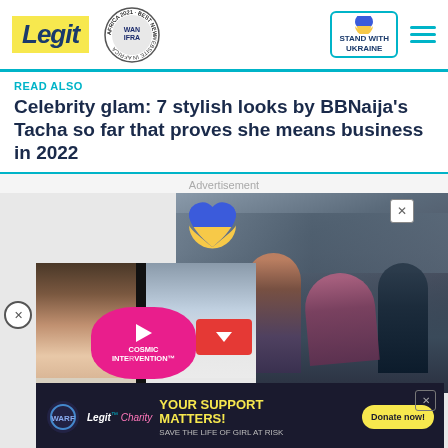Legit — Best News Website in Africa 2021 WAN-IFRA — Stand with Ukraine
READ ALSO
Celebrity glam: 7 stylish looks by BBNaija's Tacha so far that proves she means business in 2022
Advertisement
[Figure (photo): Advertisement banner with Ukraine heart logo, people being rescued in war zone, video overlay with fashion models and pink play button, and Legit charity donation banner]
YOUR SUPPORT MATTERS! SAVE THE LIFE OF GIRL AT RISK